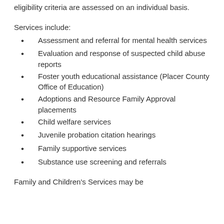eligibility criteria are assessed on an individual basis.
Services include:
Assessment and referral for mental health services
Evaluation and response of suspected child abuse reports
Foster youth educational assistance (Placer County Office of Education)
Adoptions and Resource Family Approval placements
Child welfare services
Juvenile probation citation hearings
Family supportive services
Substance use screening and referrals
Family and Children's Services may be